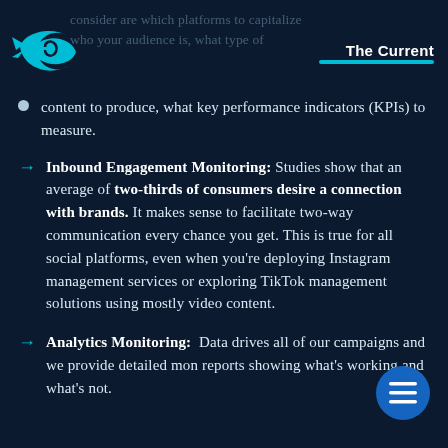consider are which platforms to capitalize who your audience is, what type of
[Figure (logo): Blue fish/arrow spiral logo for The Current brand]
The Current
content to produce, what key performance indicators (KPIs) to measure.
Inbound Engagement Monitoring: Studies show that an average of two-thirds of consumers desire a connection with brands. It makes sense to facilitate two-way communication every chance you get. This is true for all social platforms, even when you're deploying Instagram management services or exploring TikTok management solutions using mostly video content.
Analytics Monitoring: Data drives all of our campaigns and we provide detailed monthly reports showing what's working and what's not.